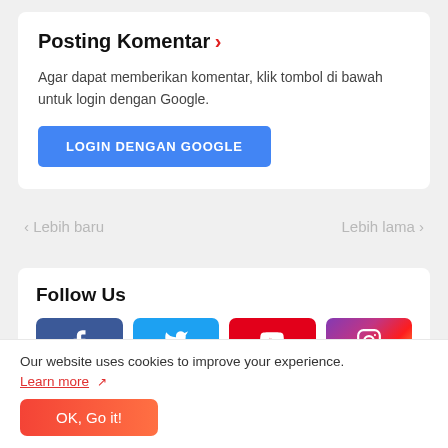Posting Komentar ›
Agar dapat memberikan komentar, klik tombol di bawah untuk login dengan Google.
LOGIN DENGAN GOOGLE
‹ Lebih baru
Lebih lama ›
Follow Us
[Figure (other): Social media buttons: Facebook (blue), Twitter (light blue), YouTube (red), Instagram (purple-pink gradient)]
Our website uses cookies to improve your experience.
Learn more ↗
OK, Go it!